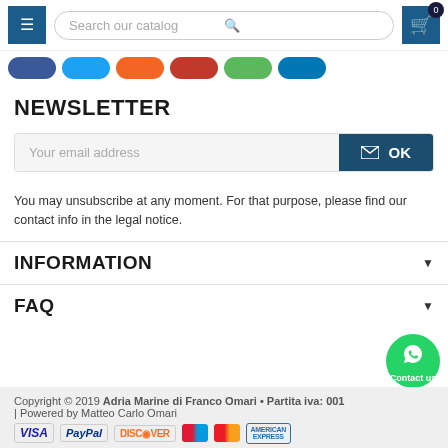Search our catalog
[Figure (other): Row of colored social media pill-shaped buttons: dark blue (Facebook), light blue (Twitter), orange, red (YouTube), green, blue (LinkedIn)]
NEWSLETTER
Your email address
OK
You may unsubscribe at any moment. For that purpose, please find our contact info in the legal notice.
INFORMATION
FAQ
Copyright © 2019 Adria Marine di Franco Omari • Partita iva: 001 | Powered by Matteo Carlo Omari
[Figure (other): Payment method logos: VISA, PayPal, DISCOVER, Maestro, MasterCard, American Express]
[Figure (other): Green WhatsApp contact us floating button]